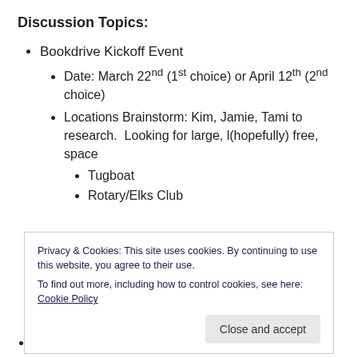Discussion Topics:
Bookdrive Kickoff Event
Date: March 22nd (1st choice) or April 12th (2nd choice)
Locations Brainstorm: Kim, Jamie, Tami to research.  Looking for large, l(hopefully) free, space
Tugboat
Rotary/Elks Club
Privacy & Cookies: This site uses cookies. By continuing to use this website, you agree to their use.
To find out more, including how to control cookies, see here: Cookie Policy
Agreed to spend about $25 on printing